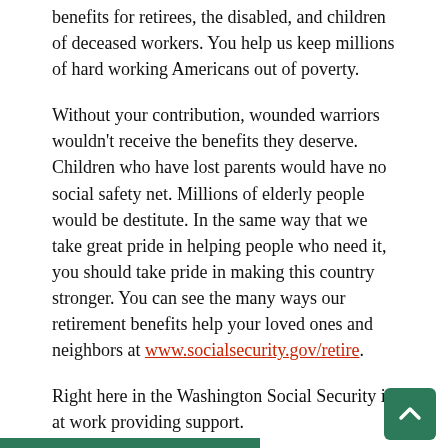benefits for retirees, the disabled, and children of deceased workers. You help us keep millions of hard working Americans out of poverty.
Without your contribution, wounded warriors wouldn't receive the benefits they deserve. Children who have lost parents would have no social safety net. Millions of elderly people would be destitute. In the same way that we take great pride in helping people who need it, you should take pride in making this country stronger. You can see the many ways our retirement benefits help your loved ones and neighbors at www.socialsecurity.gov/retire.
Right here in the Washington Social Security is at work providing support.
In King County alone there are over 300,000 people (about 1 out of 6) collecting monthly payments totaling over 5 billion dollars per year.
When you look at Washington State the economic impact